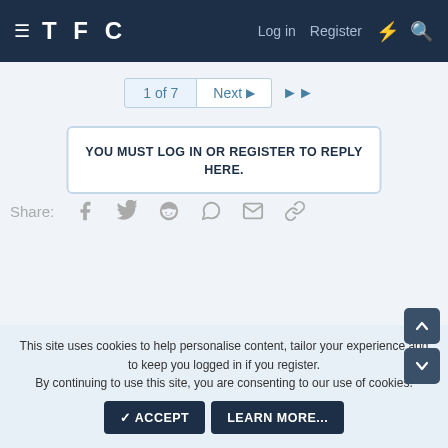TFC — Log in  Register
1 of 7  Next  ▶▶
YOU MUST LOG IN OR REGISTER TO REPLY HERE.
Share:  [Facebook] [Twitter] [Reddit] [WhatsApp] [Email] [Link]
This site uses cookies to help personalise content, tailor your experience and to keep you logged in if you register. By continuing to use this site, you are consenting to our use of cookies.  ✓ ACCEPT  LEARN MORE...